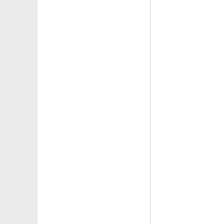Animi Miri – Complete (Ori...
Antony Doria – Don't Stop (Ori...
Black Lotus (GER) – Parts of Machine...
Cri Du Coeur – Peakered (Orig...
Cri Du Coeur – Preface (Andre Kr...
De Feo – Raw Wake Up (Orig...
Dinamite, Mython – Die Waage (...
Florian Meindl – Black Market (...
Florian Meindl – Cybertruck (Or...
Florian Meindl – Dimension Slip (Jeroe...
Florian Meindl – Frame of Mind (S...
Florian Meindl – Going Outside (Arte ...
Florian Meindl – Hidden Populations...
Florian Meindl – I Know The Kick (Blac...
Florian Meindl – The Beginning (Stephan B...
Florian Meindl – The Incal (Ori...
Florian Meindl – Wild Sequence 2 (T...
Jamie Anderson – Tensor (Roberto's W...
Momec – Beneath Ground (Ori...
Momec – Cardio (Original...
Mython – Materials (Origina...
Noncompliant – Sameen (Adam...
Responder – Premises (Orig...
Riemann – Hard Flash 07 (Ori...